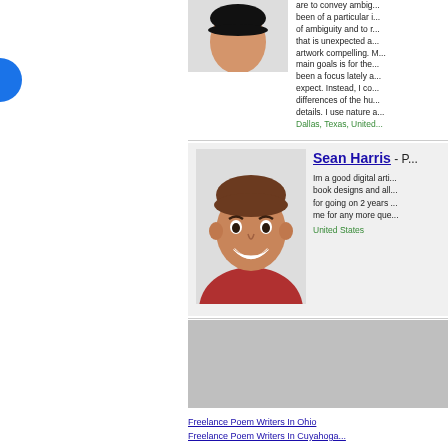[Figure (illustration): Partial blue circle on left edge of page]
[Figure (illustration): Partial avatar illustration of a person in red shirt, cropped at top]
are to convey ambig... been of a particular i... of ambiguity and to r... that is unexpected a... artwork compelling. M... main goals is for the... been a focus lately a... expect. Instead, co... differences of the hu... details. I use nature a...
Dallas, Texas, United...
[Figure (illustration): Avatar illustration of Sean Harris, a man with short brown hair, smiling, wearing a red shirt]
Sean Harris - P...
Im a good digital arti... book designs and al... for going on 2 years... me for any more que...
United States
[Figure (other): Gray placeholder/advertisement block]
Freelance Poem Writers In Ohio
Freelance Poem Writers In Cuyahoga...